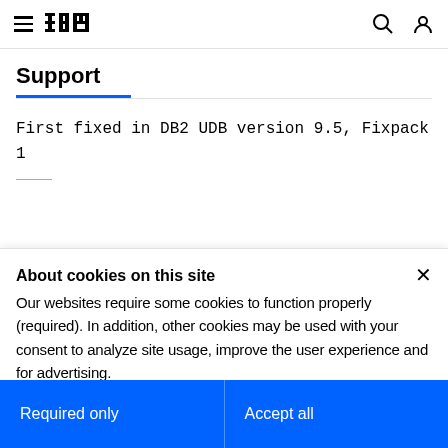IBM (logo) — navigation bar with hamburger menu, search icon, user icon
Support
First fixed in DB2 UDB version 9.5, Fixpack 1
About cookies on this site
Our websites require some cookies to function properly (required). In addition, other cookies may be used with your consent to analyze site usage, improve the user experience and for advertising.

For more information, please review your Cookie preferences options and IBM's privacy statement.
Required only
Accept all